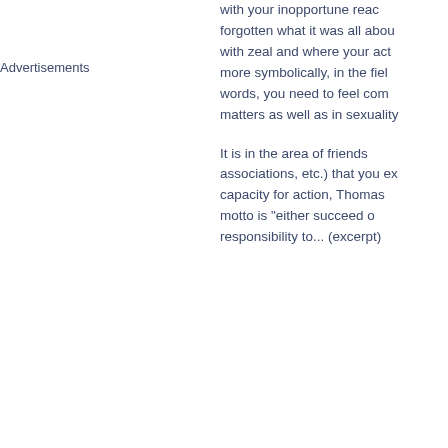with your inopportune reactions forgotten what it was all about with zeal and where your act more symbolically, in the field words, you need to feel com matters as well as in sexuality
It is in the area of friends associations, etc.) that you ex capacity for action, Thomas motto is "either succeed o responsibility to... (excerpt)
Advertisements